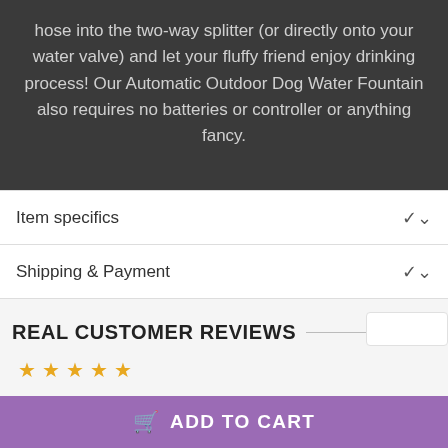hose into the two-way splitter (or directly onto your water valve) and let your fluffy friend enjoy drinking process! Our Automatic Outdoor Dog Water Fountain also requires no batteries or controller or anything fancy.
Item specifics
Shipping & Payment
REAL CUSTOMER REVIEWS
ADD TO CART